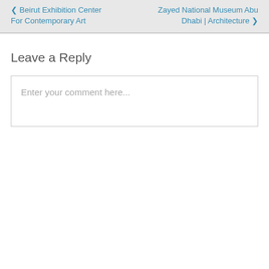< Beirut Exhibition Center For Contemporary Art
Zayed National Museum Abu Dhabi | Architecture >
Leave a Reply
Enter your comment here...